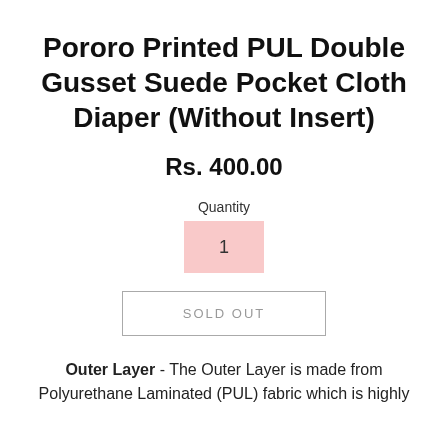Pororo Printed PUL Double Gusset Suede Pocket Cloth Diaper (Without Insert)
Rs. 400.00
Quantity
1
SOLD OUT
Outer Layer - The Outer Layer is made from Polyurethane Laminated (PUL) fabric which is highly